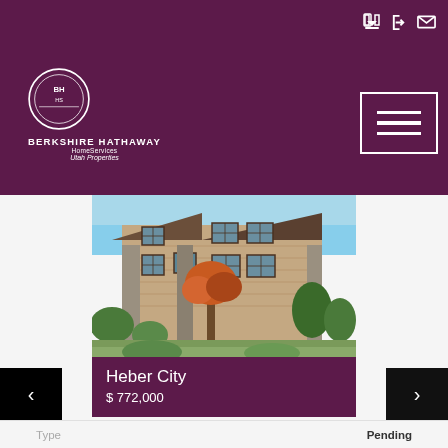BERKSHIRE HATHAWAY HomeServices Utah Properties
[Figure (photo): Exterior rendering of a multi-story mountain-style residential building with wood siding, stone pillars, and autumn foliage landscaping]
Heber City
$ 772,000
| Label | Value |
| --- | --- |
| Type | Pending |
| Size | 1,584 SqFt |
| Rooms | 3 Beds • 2 Baths |